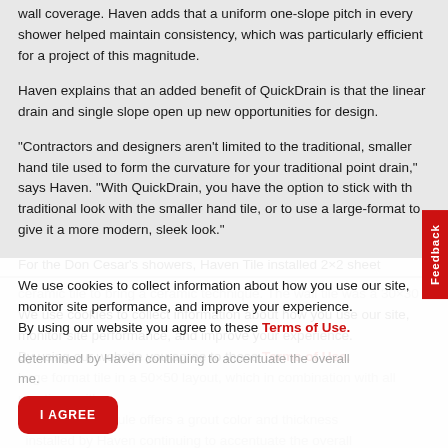wall coverage. Haven adds that a uniform one-slope pitch in every shower helped maintain consistency, which was particularly efficient for a project of this magnitude.
Haven explains that an added benefit of QuickDrain is that the linear drain and single slope open up new opportunities for design.
“Contractors and designers aren’t limited to the traditional, smaller hand tile used to form the curvature for your traditional point drain,” says Haven. “With QuickDrain, you have the option to stick with the traditional look with the smaller hand tile, or to use a large-format to give it a more modern, sleek look.”
For the Don Cesar’s showers, Haven Tile installed 2×2 sheet
ceramic tile to bring a ceramic technique. The wall tile was a 30×30 large format tile in a 50×50 layout, which in combination with its 35 35 cm module offers a grout color and thickness determined by Haven continuing to accentuate the overall overall vibe of the frame.
We use cookies to collect information about how you use our site, monitor site performance, and improve your experience.
By using our website you agree to these Terms of Use.
I AGREE